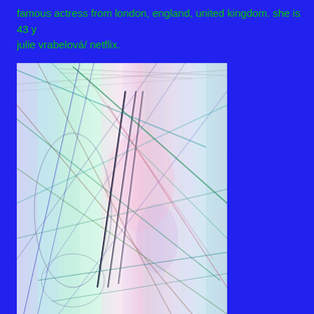famous actress from london, england, united kingdom. she is 43 y
julie vrabelová/ netflix.
[Figure (illustration): Abstract image with a pastel rainbow gradient background (vertical bands of light green, mint, pink, and lavender) overlaid with many intersecting thin lines in various colors (dark navy, green, brown, blue, red, teal) and two ellipses/circles outlined in thin lines. The image appears to be a generative or abstract artwork.]